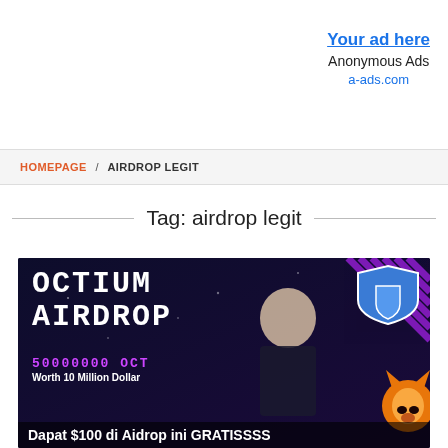[Figure (infographic): Advertisement block: 'Your ad here' link in blue bold, 'Anonymous Ads' in black, 'a-ads.com' in blue link]
HOMEPAGE / AIRDROP LEGIT
Tag: airdrop legit
[Figure (infographic): Promotional banner for OCTIUM AIRDROP: dark blue/purple background, text 'OCTIUM AIRDROP', '50000000 OCT', 'Worth 10 Million Dollar', 'Dapat $100 di Aidrop ini GRATISSSS', with person, shield and fox mascot images]